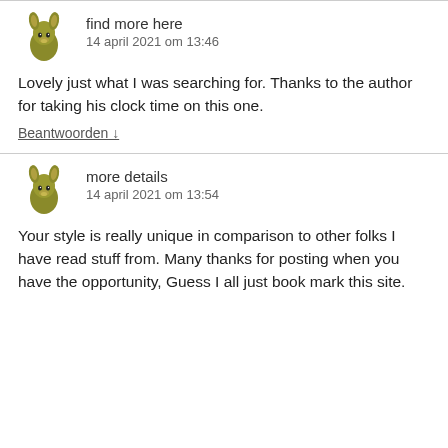find more here
14 april 2021 om 13:46
Lovely just what I was searching for. Thanks to the author for taking his clock time on this one.
Beantwoorden ↓
more details
14 april 2021 om 13:54
Your style is really unique in comparison to other folks I have read stuff from. Many thanks for posting when you have the opportunity, Guess I all just book mark this site.